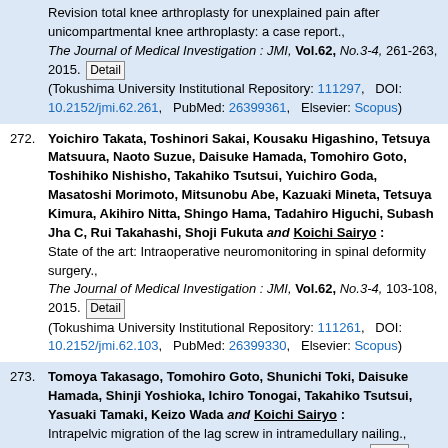Revision total knee arthroplasty for unexplained pain after unicompartmental knee arthroplasty: a case report., The Journal of Medical Investigation : JMI, Vol.62, No.3-4, 261-263, 2015. [Detail] (Tokushima University Institutional Repository: 111297, DOI: 10.2152/jmi.62.261, PubMed: 26399361, Elsevier: Scopus)
272. Yoichiro Takata, Toshinori Sakai, Kousaku Higashino, Tetsuya Matsuura, Naoto Suzue, Daisuke Hamada, Tomohiro Goto, Toshihiko Nishisho, Takahiko Tsutsui, Yuichiro Goda, Masatoshi Morimoto, Mitsunobu Abe, Kazuaki Mineta, Tetsuya Kimura, Akihiro Nitta, Shingo Hama, Tadahiro Higuchi, Subash Jha C, Rui Takahashi, Shoji Fukuta and Koichi Sairyo : State of the art: Intraoperative neuromonitoring in spinal deformity surgery., The Journal of Medical Investigation : JMI, Vol.62, No.3-4, 103-108, 2015. [Detail] (Tokushima University Institutional Repository: 111261, DOI: 10.2152/jmi.62.103, PubMed: 26399330, Elsevier: Scopus)
273. Tomoya Takasago, Tomohiro Goto, Shunichi Toki, Daisuke Hamada, Shinji Yoshioka, Ichiro Tonogai, Takahiko Tsutsui, Yasuaki Tamaki, Keizo Wada and Koichi Sairyo : Intrapelvic migration of the lag screw in intramedullary nailing., Case Reports in Orthopedics, Vol.2014, 519045, 2014. [Detail] (DOI: 10.1155/2014/519045, PubMed: 25610680)